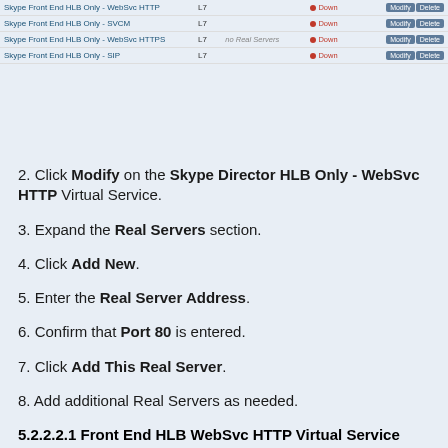[Figure (screenshot): Table listing Skype virtual services: Skype Front End HLB Only - WebSvc HTTP, Skype Front End HLB Only - SVCM, Skype Front End HLB Only - WebSvc HTTPS (with 'no Real Servers' note), and Skype Front End HLB Only - SIP. All show L7 type, Down status (red dot), and Modify/Delete action buttons.]
2. Click Modify on the Skype Director HLB Only - WebSvc HTTP Virtual Service.
3. Expand the Real Servers section.
4. Click Add New.
5. Enter the Real Server Address.
6. Confirm that Port 80 is entered.
7. Click Add This Real Server.
8. Add additional Real Servers as needed.
5.2.2.2.1 Front End HLB WebSvc HTTP Virtual Service Recommended API Settings (optional)